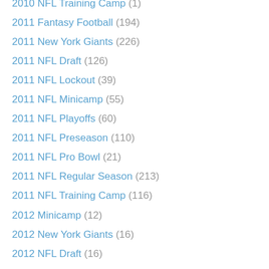2010 NFL Training Camp (1)
2011 Fantasy Football (194)
2011 New York Giants (226)
2011 NFL Draft (126)
2011 NFL Lockout (39)
2011 NFL Minicamp (55)
2011 NFL Playoffs (60)
2011 NFL Preseason (110)
2011 NFL Pro Bowl (21)
2011 NFL Regular Season (213)
2011 NFL Training Camp (116)
2012 Minicamp (12)
2012 New York Giants (16)
2012 NFL Draft (16)
2012 NFL Draft Class (16)
2012 NFL Fantasy Football (10)
2012 NFL Free Agency (11)
2012 NFL Schedule (14)
2012 NFL Training Camp (15)
2012 Pro Bowl (17)